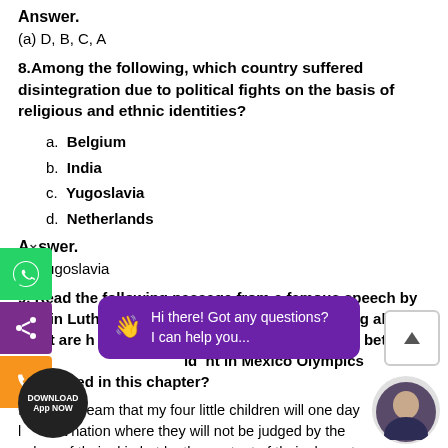Answer.
(a) D, B, C, A
8.Among the following, which country suffered disintegration due to political fights on the basis of religious and ethnic identities?
a. Belgium
b. India
c. Yugoslavia
d. Netherlands
Answer.
(c) Yugoslavia
9. Read the following passage from a famous speech by Martin Luther King Jr. in 1963. What is the speech talking about? What are his dreams? Do you see a relationship between this speech and the incident in Mexico Olympics mentioned in this chapter?
I have a dream that my four little children will one day live in a nation where they will not be judged by the colour of their skin but by the content of their character.